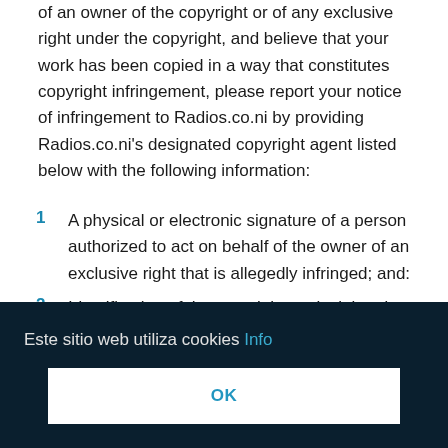of an owner of the copyright or of any exclusive right under the copyright, and believe that your work has been copied in a way that constitutes copyright infringement, please report your notice of infringement to Radios.co.ni by providing Radios.co.ni's designated copyright agent listed below with the following information:
1  A physical or electronic signature of a person authorized to act on behalf of the owner of an exclusive right that is allegedly infringed; and:
2  Identification of the copyright work claimed to have been ... at a single online ... d:
... her intellectual ... des:
... o, or evidence that you are a representative of, the entity owning the
Este sitio web utiliza cookies Info
OK